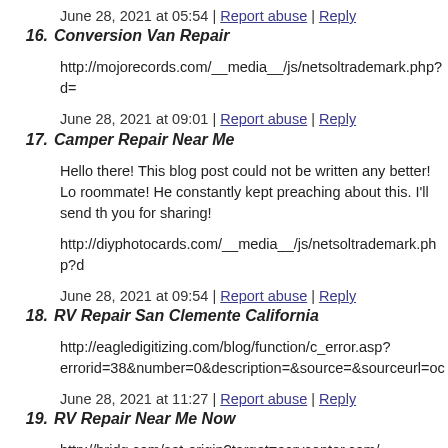June 28, 2021 at 05:54 | Report abuse | Reply
16. Conversion Van Repair
http://mojorecords.com/__media__/js/netsoltrademark.php?d=
June 28, 2021 at 09:01 | Report abuse | Reply
17. Camper Repair Near Me
Hello there! This blog post could not be written any better! Lo roommate! He constantly kept preaching about this. I'll send th you for sharing!
http://diyphotocards.com/__media__/js/netsoltrademark.php?d
June 28, 2021 at 09:54 | Report abuse | Reply
18. RV Repair San Clemente California
http://eagledigitizing.com/blog/function/c_error.asp?errorid=38&number=0&description=&source=&sourceurl=oc
June 28, 2021 at 11:27 | Report abuse | Reply
19. RV Repair Near Me Now
http://bridg.com/set-origin?target=ocrvcenter.com/
June 28, 2021 at 11:55 | Report abuse | Reply